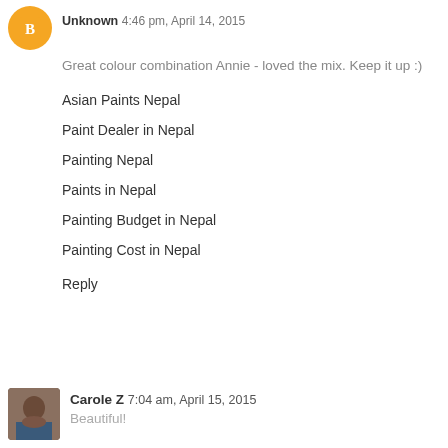Unknown 4:46 pm, April 14, 2015
Great colour combination Annie - loved the mix. Keep it up :)
Asian Paints Nepal
Paint Dealer in Nepal
Painting Nepal
Paints in Nepal
Painting Budget in Nepal
Painting Cost in Nepal
Reply
Carole Z 7:04 am, April 15, 2015
Beautiful!